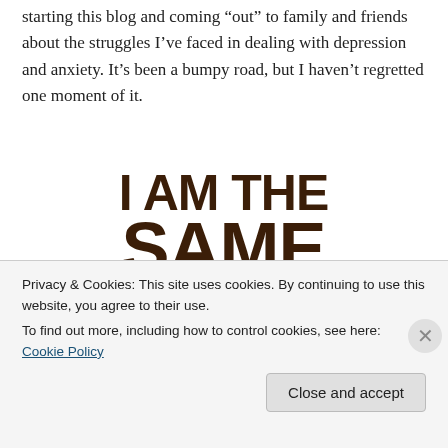starting this blog and coming “out” to family and friends about the struggles I’ve faced in dealing with depression and anxiety. It’s been a bumpy road, but I haven’t regretted one moment of it.
[Figure (illustration): Bold dark brown text on white background reading: I AM THE SAME PERSON I WAS BEFORE YOU FOUND OUT]
Privacy & Cookies: This site uses cookies. By continuing to use this website, you agree to their use.
To find out more, including how to control cookies, see here: Cookie Policy